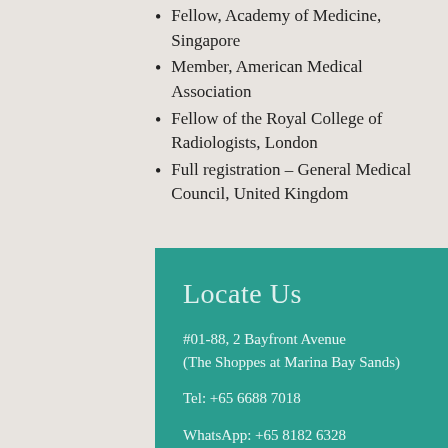Fellow, Academy of Medicine, Singapore
Member, American Medical Association
Fellow of the Royal College of Radiologists, London
Full registration – General Medical Council, United Kingdom
Locate Us
#01-88, 2 Bayfront Avenue
(The Shoppes at Marina Bay Sands)
Tel: +65 6688 7018
WhatsApp: +65 8182 6328
Email: info@kblhealthcare.com.sg
Menu
Home		Information Centre